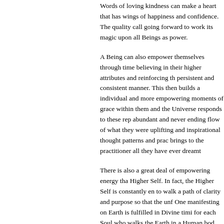Words of loving kindness can make a heart that has wings of happiness and confidence. The quality call going forward to work its magic upon all Beings as power.
A Being can also empower themselves through time believing in their higher attributes and reinforcing th persistent and consistent manner. This then builds a individual and more empowering moments of grace within them and the Universe responds to these rep abundant and never ending flow of what they were uplifting and inspirational thought patterns and prac brings to the practitioner all they have ever dreamt
There is also a great deal of empowering energy tha Higher Self. In fact, the Higher Self is constantly en to walk a path of clarity and purpose so that the unf One manifesting on Earth is fulfilled in Divine timi for each Soul who walks the Earth in a Human bod much progress will take place within the growth an the empowerment and Love energy flows from on h One's life is known and experienced as fulfillment.
On an even higher level, the Cosmic energies that f